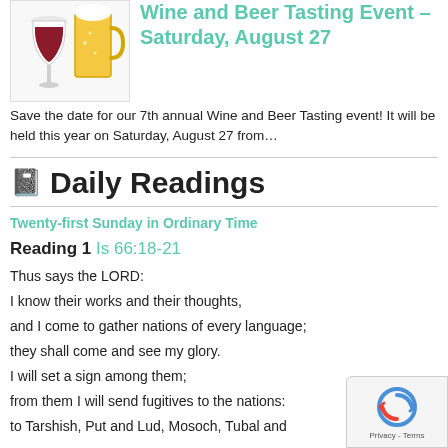[Figure (photo): A red wine glass and a pint of beer side by side on a white background.]
Wine and Beer Tasting Event – Saturday, August 27
Save the date for our 7th annual Wine and Beer Tasting event!  It will be held this year on Saturday, August 27 from...
📓 Daily Readings
Twenty-first Sunday in Ordinary Time
Reading 1 Is 66:18-21
Thus says the LORD:
I know their works and their thoughts,
and I come to gather nations of every language;
they shall come and see my glory.
I will set a sign among them;
from them I will send fugitives to the nations:
to Tarshish, Put and Lud, Mosoch, Tubal and